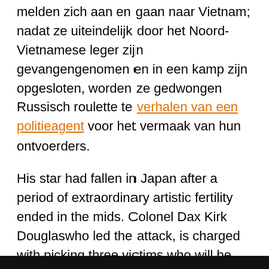melden zich aan en gaan naar Vietnam; nadat ze uiteindelijk door het Noord-Vietnamese leger zijn gevangengenomen en in een kamp zijn opgesloten, worden ze gedwongen Russisch roulette te verhalen van een politieagent voor het vermaak van hun ontvoerders.
His star had fallen in Japan after a period of extraordinary artistic fertility ended in the mids. Colonel Dax Kirk Douglaswho led the attack, is charged with picking three victims who will be subject to court martial and firing squad. We beginnen een keer niet met een van de vele oorlogsfilms over de Tweede Wereldoorlog, maar over een recentere strijd. Indeed, the film is sympathetic to all perspectives, even as it sagely questions how these combative circumstances came about. More on Time In [image] [title].
[Figure (other): Black bar at the bottom of the page]